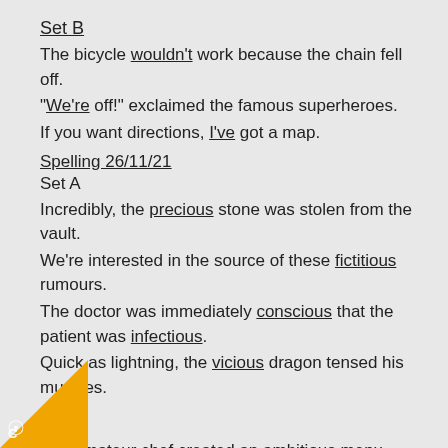Set B
The bicycle wouldn't work because the chain fell off.
“We're off!” exclaimed the famous superheroes.
If you want directions, I've got a map.
Spelling 26/11/21
Set A
Incredibly, the precious stone was stolen from the vault.
We're interested in the source of these fictitious rumours.
The doctor was immediately conscious that the patient was infectious.
Quick as lightning, the vicious dragon tensed his muscles.
Set B
The amateur chef created an ambitious menu.
There was a suspicious figure lurking in the darkness.
‘It was delicious!” exclaimed the boy.